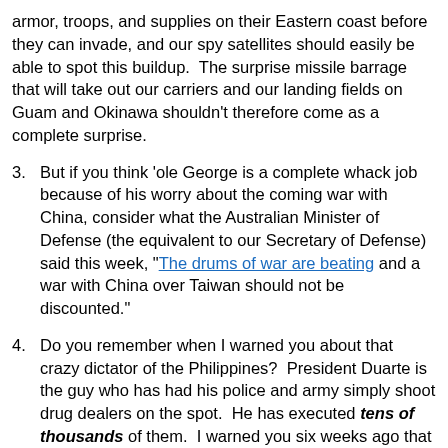armor, troops, and supplies on their Eastern coast before they can invade, and our spy satellites should easily be able to spot this buildup.  The surprise missile barrage that will take out our carriers and our landing fields on Guam and Okinawa shouldn't therefore come as a complete surprise.
3. But if you think 'ole George is a complete whack job because of his worry about the coming war with China, consider what the Australian Minister of Defense (the equivalent to our Secretary of Defense) said this week, "The drums of war are beating and a war with China over Taiwan should not be discounted."
4. Do you remember when I warned you about that crazy dictator of the Philippines?  President Duarte is the guy who has had his police and army simply shoot drug dealers on the spot.  He has executed tens of thousands of them.  I warned you six weeks ago that Duarte was just crazy enough to attack the Chinese fishing fleet off the Spratlys Islands.  Well, his Secretary of State told the Chinese this week to get the f*ck out of there.  Hahahaha!  The Secretary of